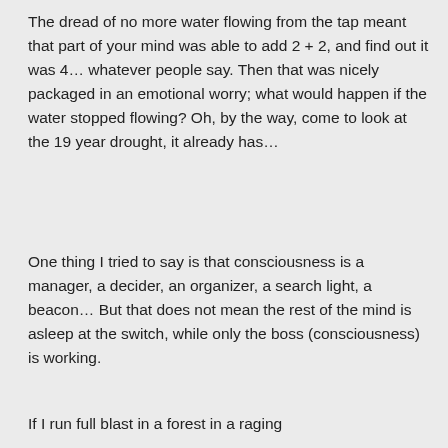The dread of no more water flowing from the tap meant that part of your mind was able to add 2 + 2, and find out it was 4… whatever people say. Then that was nicely packaged in an emotional worry; what would happen if the water stopped flowing? Oh, by the way, come to look at the 19 year drought, it already has…
One thing I tried to say is that consciousness is a manager, a decider, an organizer, a search light, a beacon… But that does not mean the rest of the mind is asleep at the switch, while only the boss (consciousness) is working.
If I run full blast in a forest in a raging